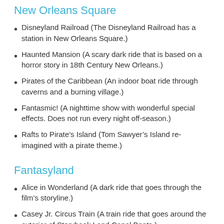New Orleans Square
Disneyland Railroad (The Disneyland Railroad has a station in New Orleans Square.)
Haunted Mansion (A scary dark ride that is based on a horror story in 18th Century New Orleans.)
Pirates of the Caribbean (An indoor boat ride through caverns and a burning village.)
Fantasmic! (A nighttime show with wonderful special effects. Does not run every night off-season.)
Rafts to Pirate’s Island (Tom Sawyer’s Island re-imagined with a pirate theme.)
Fantasyland
Alice in Wonderland (A dark ride that goes through the film’s storyline.)
Casey Jr. Circus Train (A train ride that goes around the exterior of Storybook Land Canal Boats.)